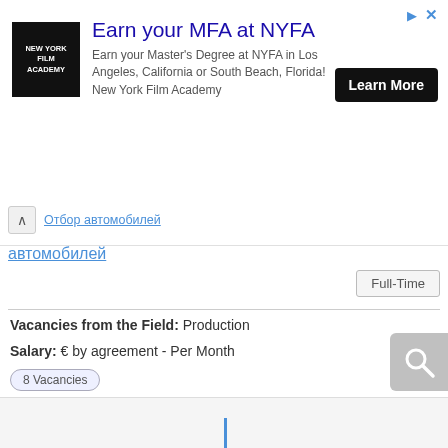[Figure (screenshot): Advertisement banner for New York Film Academy MFA program with logo, headline, description, and Learn More button]
Earn your MFA at NYFA
Earn your Master's Degree at NYFA in Los Angeles, California or South Beach, Florida! New York Film Academy
автомобилей
Full-Time
Vacancies from the Field: Production
Salary: € by agreement - Per Month
8 Vacancies
Posted: 57 Days Ago
Hits: 523
Tatabánya, Hungary